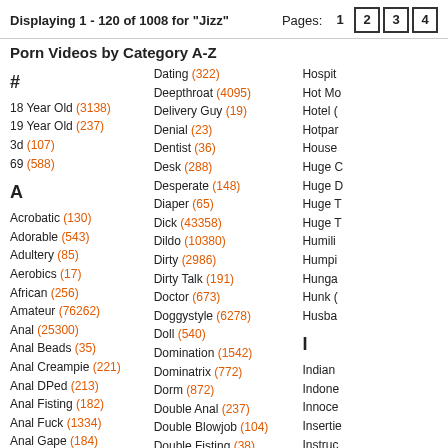Displaying 1 - 120 of 1008 for "Jizz"  Pages: 1 2 3 4
Porn Videos by Category A-Z
#
18 Year Old (3138)
19 Year Old (237)
3d (107)
69 (588)
A
Acrobatic (130)
Adorable (543)
Adultery (85)
Aerobics (17)
African (256)
Amateur (76262)
Anal (25300)
Anal Beads (35)
Anal Creampie (221)
Anal DPed (213)
Anal Fisting (182)
Anal Fuck (1334)
Anal Gape (184)
Anal Toying (473)
Anime (418)
Anus (745)
Arabian (793)
Army (73)
Asian (14870)
Dating (322)
Deepthroat (4095)
Delivery Guy (19)
Denial (23)
Dentist (36)
Desk (288)
Desperate (148)
Diaper (65)
Dick (43358)
Dildo (10380)
Dirty (2986)
Dirty Talk (191)
Doctor (673)
Doggystyle (6278)
Doll (540)
Domination (1542)
Dominatrix (772)
Dorm (872)
Double Anal (237)
Double Blowjob (104)
Double Fisting (38)
Double Fucking (105)
Double Penetration (2863)
Double Pussy (37)
Double Toying (28)
DPed (2852)
Dress (861)
Dressing Room (92)
Hospital (...)
Hot Mo(...)
Hotel (...)
Hotpar(...)
House(...)
Huge C(...)
Huge D(...)
Huge T(...)
Huge T(...)
Humili(...)
Humpi(...)
Hunga(...)
Hunk (...)
Husba(...)
I
Indian (...)
Indone(...)
Innoce(...)
Insertie(...)
Instruc(...)
Interra(...)
Intervie(...)
Italian (...)
J
Jacuzz(...)